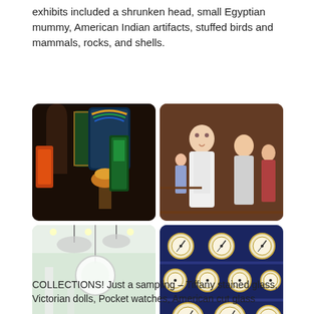exhibits included a shrunken head, small Egyptian mummy, American Indian artifacts, stuffed birds and mammals, rocks, and shells.
[Figure (photo): Four museum collection photos in a 2x2 grid: top-left shows Tiffany stained glass exhibits in a darkened gallery; top-right shows Victorian dolls on display shelves; bottom-left shows a grand hall with crystal chandeliers and American cut glass displays; bottom-right shows pocket watches arranged on blue shelved display case.]
COLLECTIONS! Just a sampling – Tiffany stained glass, Victorian dolls, Pocket watches, American cut glass